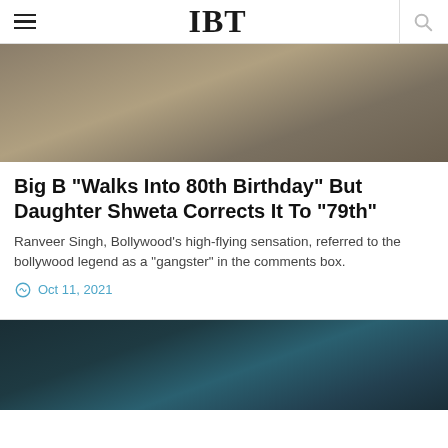IBT
[Figure (photo): Blurred brownish-tan background image, top portion of an article]
Big B "Walks Into 80th Birthday" But Daughter Shweta Corrects It To "79th"
Ranveer Singh, Bollywood's high-flying sensation, referred to the bollywood legend as a "gangster" in the comments box.
Oct 11, 2021
[Figure (photo): Dark teal/dark greenish background image, bottom portion visible]